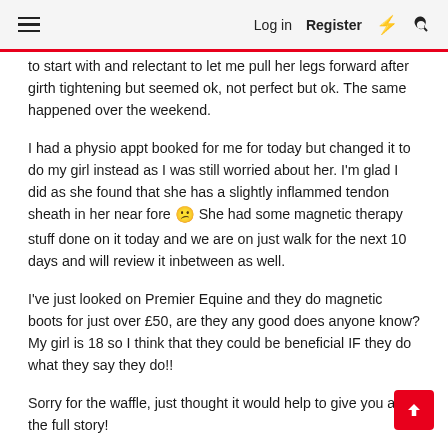☰  Log in  Register  ⚡ 🔍
to start with and relectant to let me pull her legs forward after girth tightening but seemed ok, not perfect but ok. The same happened over the weekend.
I had a physio appt booked for me for today but changed it to do my girl instead as I was still worried about her. I'm glad I did as she found that she has a slightly inflammed tendon sheath in her near fore 😕 She had some magnetic therapy stuff done on it today and we are on just walk for the next 10 days and will review it inbetween as well.
I've just looked on Premier Equine and they do magnetic boots for just over £50, are they any good does anyone know? My girl is 18 so I think that they could be beneficial IF they do what they say they do!!
Sorry for the waffle, just thought it would help to give you all the full story!
Thanks again